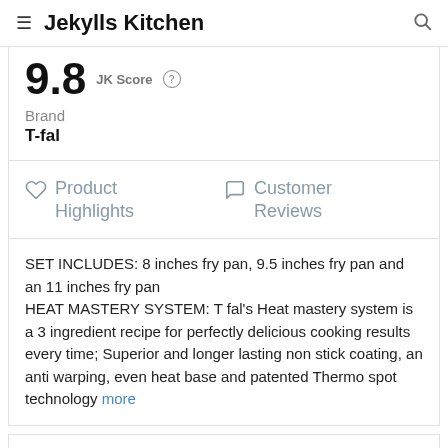Jekylls Kitchen
9.8 JK Score
Brand
T-fal
Product Highlights
Customer Reviews
SET INCLUDES: 8 inches fry pan, 9.5 inches fry pan and an 11 inches fry pan
HEAT MASTERY SYSTEM: T fal's Heat mastery system is a 3 ingredient recipe for perfectly delicious cooking results every time; Superior and longer lasting non stick coating, an anti warping, even heat base and patented Thermo spot technology more